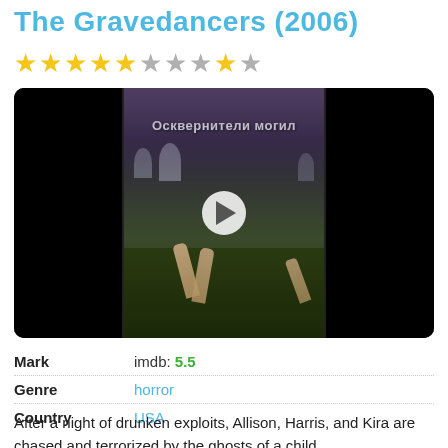The Gravedancers (2006)
[Figure (other): Star rating: 5 filled gold stars, 1 grey star, 4 more stars (mix of filled and empty), totaling 10 stars displayed with 5.5 implied rating]
[Figure (photo): Movie trailer thumbnail showing a dark graveyard scene with zombie hands rising from the ground and Cyrillic text 'Осквернители могил' (Desecrators of Graves), with a play button overlay]
| Field | Value |
| --- | --- |
| Mark | imdb: 5.5 |
| Genre | horror |
| Country | USA |
After a night of drunken exploits, Allison, Harris, and Kira are chased and terrorized by the ghosts of a child